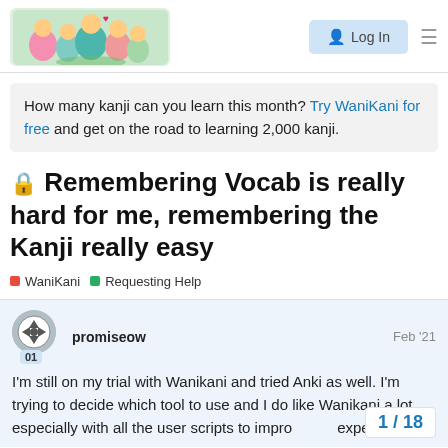WaniKani Community — Log In
How many kanji can you learn this month? Try WaniKani for free and get on the road to learning 2,000 kanji.
🔒 Remembering Vocab is really hard for me, remembering the Kanji really easy
WaniKani  Requesting Help
promiseow  Feb '21  01  I'm still on my trial with Wanikani and tried Anki as well. I'm trying to decide which tool to use and I do like Wanikani a lot especially with all the user scripts to improve experience.
1 / 18